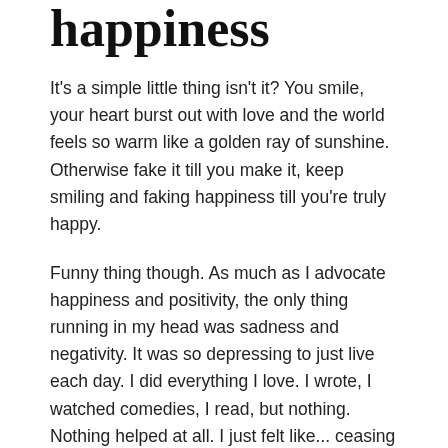happiness
It's a simple little thing isn't it? You smile, your heart burst out with love and the world feels so warm like a golden ray of sunshine. Otherwise fake it till you make it, keep smiling and faking happiness till you're truly happy.
Funny thing though. As much as I advocate happiness and positivity, the only thing running in my head was sadness and negativity. It was so depressing to just live each day. I did everything I love. I wrote, I watched comedies, I read, but nothing. Nothing helped at all. I just felt like... ceasing my existence. It's a strange feeling; I have never felt anything like this before!
Talking to people